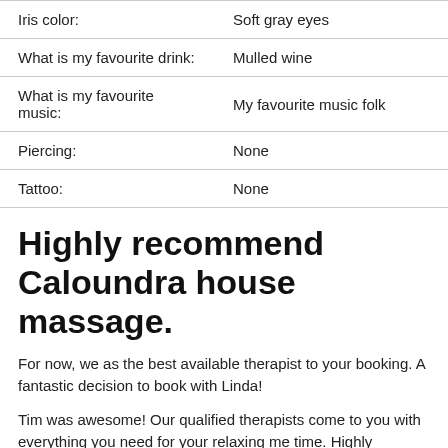| Iris color: | Soft gray eyes |
| What is my favourite drink: | Mulled wine |
| What is my favourite music: | My favourite music folk |
| Piercing: | None |
| Tattoo: | None |
Highly recommend Caloundra house massage.
For now, we as the best available therapist to your booking. A fantastic decision to book with Linda!
Tim was awesome! Our qualified therapists come to you with everything you need for your relaxing me time. Highly recommended!